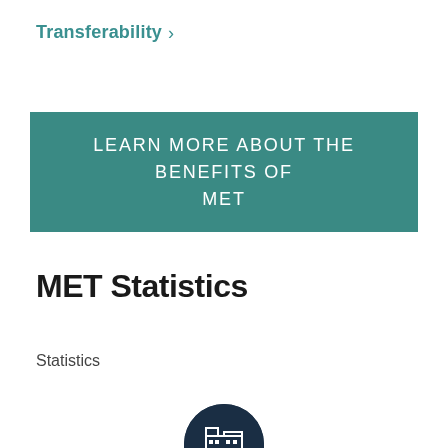Transferability >
LEARN MORE ABOUT THE BENEFITS OF MET
MET Statistics
Statistics
[Figure (illustration): Dark navy semicircle with white building/institution icon at bottom of page]